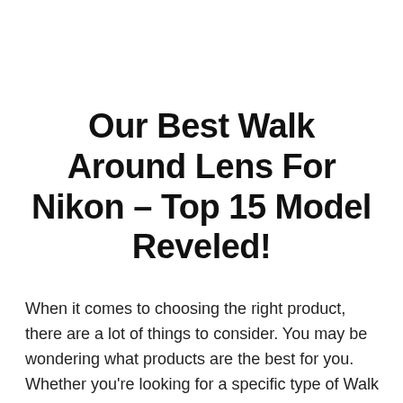Our Best Walk Around Lens For Nikon – Top 15 Model Reveled!
When it comes to choosing the right product, there are a lot of things to consider. You may be wondering what products are the best for you. Whether you're looking for a specific type of Walk Around Lens For Nikon you just want to be able to find what you're looking for easier, we've got you covered.